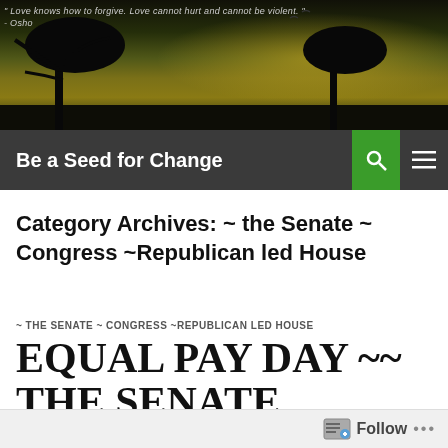[Figure (photo): Dark atmospheric header image with tree silhouette against a golden-green sky, with a quote overlay: '" Love knows how to forgive. Love cannot hurt and cannot be violent. " - Osho']
Be a Seed for Change
Category Archives: ~ the Senate ~ Congress ~Republican led House
~ THE SENATE ~ CONGRESS ~REPUBLICAN LED HOUSE
EQUAL PAY DAY ~~ THE SENATE CONSIDERS S2199 FAIR LABOR